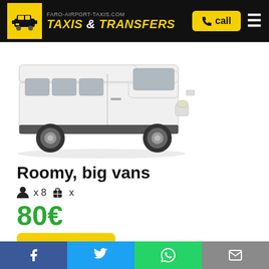FARO-AIRPORT-TAXIS.COM TAXIS & TRANSFERS | call
[Figure (photo): Side view of a large white passenger van/minibus on white background]
Roomy, big vans
x 8 | x
80€
book now
Facebook | Twitter | WhatsApp | Email